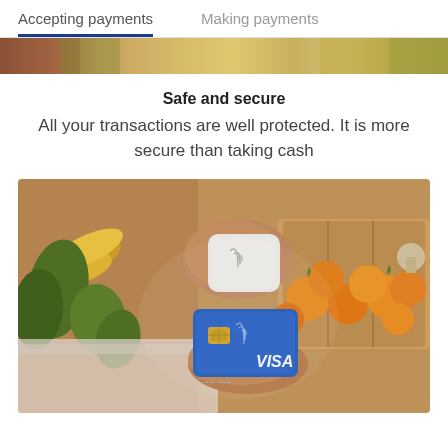Accepting payments   Making payments
[Figure (photo): Partial photo strip showing a market scene with vegetables and produce, top portion visible]
Safe and secure
All your transactions are well protected. It is more secure than taking cash
[Figure (photo): Person tapping a Visa card on a square card reader device at a farmers market with vegetables and produce in the background]